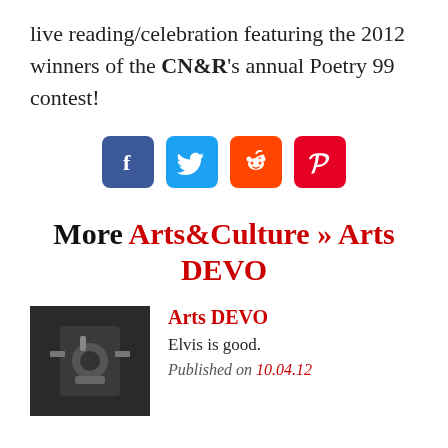live reading/celebration featuring the 2012 winners of the CN&R's annual Poetry 99 contest!
[Figure (infographic): Four social media share icons in a row: Facebook (dark blue), Twitter (light blue), Reddit (orange), Pinterest (red)]
More Arts&Culture » Arts DEVO
[Figure (photo): Small thumbnail photo of what appears to be a mechanical or musical device, dark monochrome tones]
Arts DEVO
Elvis is good.
Published on 10.04.12